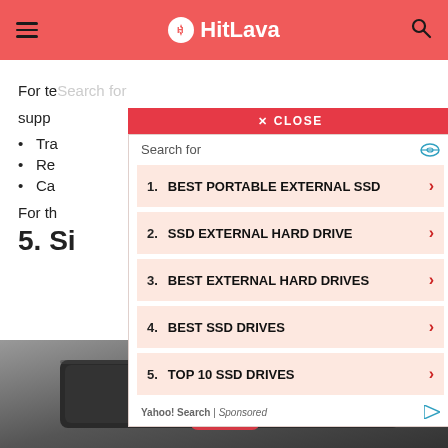HitLava
For te  supp
Tra
Re
Ca
For th  $97.
5. Si
[Figure (screenshot): Ad overlay with close button and Yahoo Search sponsored list: 1. BEST PORTABLE EXTERNAL SSD, 2. SSD EXTERNAL HARD DRIVE, 3. BEST EXTERNAL HARD DRIVES, 4. BEST SSD DRIVES, 5. TOP 10 SSD DRIVES. Yahoo! Search | Sponsored attribution.]
[Figure (photo): Bottom portion showing a dark grey/black external hard drive device with a red accent element visible]